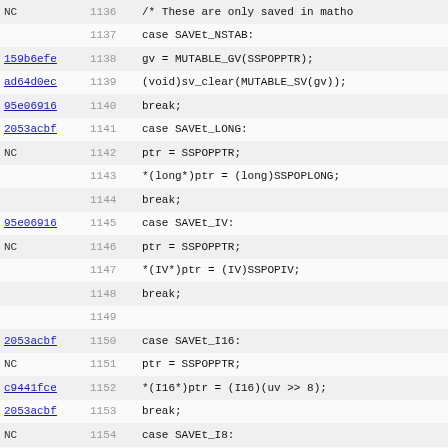[Figure (screenshot): Source code diff viewer showing C/Perl code lines 1136-1167 with commit hashes and line numbers. Code includes switch-case statements for SAVEt_NSTAB, SAVEt_LONG, SAVEt_IV, SAVEt_I16, SAVEt_I8, SAVEt_DESTRUCTOR, and SAVEt_COMPILE_WARNINGS.]